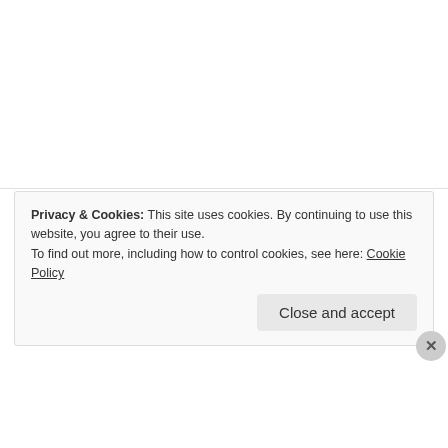Steph | DiscoveringIce.com on March 8, 2013 at 5:51 pm
Jajaja ‘mami’ and ‘papi’ are such knacker words! 😜
↪ Reply
Privacy & Cookies: This site uses cookies. By continuing to use this website, you agree to their use.
To find out more, including how to control cookies, see here: Cookie Policy